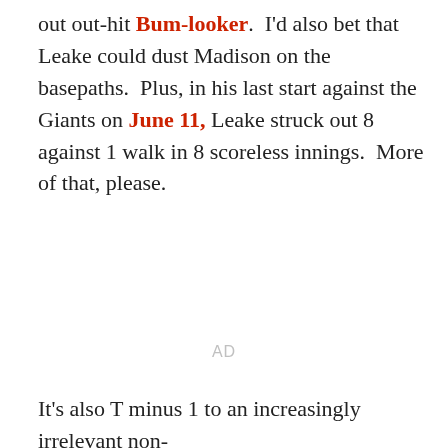out out-hit Bum-looker.  I'd also bet that Leake could dust Madison on the basepaths.  Plus, in his last start against the Giants on June 11, Leake struck out 8 against 1 walk in 8 scoreless innings.  More of that, please.
AD
It's also T minus 1 to an increasingly irrelevant non-